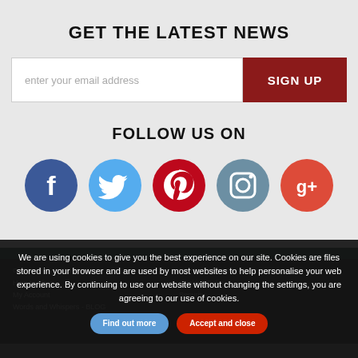GET THE LATEST NEWS
enter your email address
SIGN UP
FOLLOW US ON
[Figure (illustration): Row of five social media icons: Facebook (blue circle with white f), Twitter (light blue circle with white bird), Pinterest (red circle with white P), Instagram (grey-blue circle with camera), Google+ (orange-red circle with g+ text)]
CUSTOMER SERVICES | USEFUL INFORMATION
How to Shop
My Account
Words and Whispers - BLOG
Cookies Policy
Security
We are using cookies to give you the best experience on our site. Cookies are files stored in your browser and are used by most websites to help personalise your web experience. By continuing to use our website without changing the settings, you are agreeing to our use of cookies.
Find out more
Accept and close